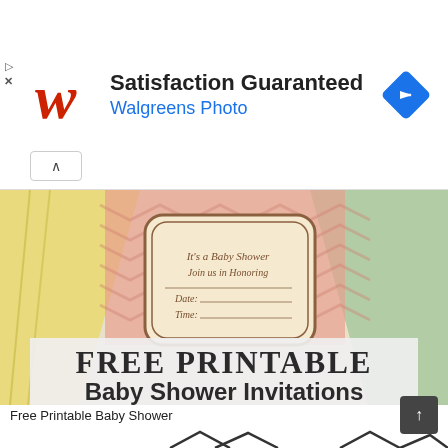[Figure (logo): Walgreens Photo advertisement banner with Walgreens W logo in red italic, text 'Satisfaction Guaranteed' in bold black and 'Walgreens Photo' in blue, and a blue diamond navigation arrow icon on the right]
[Figure (photo): Free Printable Baby Shower Invitations image showing decorative invitation cards with chevron patterns in pink, yellow, and green/teal, with 'FREE PRINTABLE Baby Shower Invitations' text overlay]
Free Printable Baby Shower
[Figure (illustration): Black and white line drawing of a cartoon cat face with pointed ears visible at the bottom of the page]